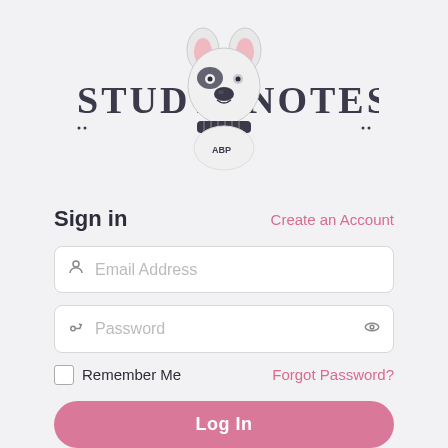[Figure (logo): Study Notes logo with illustrated French Bulldog wearing a scarf, text 'STUDY NOTES' in decorative serif letters flanking the dog illustration]
Sign in
Create an Account
Email Address
Password
Remember Me
Forgot Password?
Log In